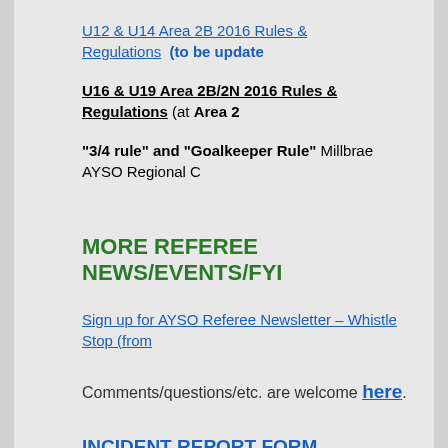U12 & U14 Area 2B 2016 Rules & Regulations (to be update
U16 & U19 Area 2B/2N 2016 Rules & Regulations (at Area 2
"3/4 rule" and "Goalkeeper Rule" Millbrae AYSO Regional C
MORE REFEREE NEWS/EVENTS/FYI
Sign up for AYSO Referee Newsletter – Whistle Stop (from
Comments/questions/etc. are welcome here.
INCIDENT REPORT FORM
The AYSO Incident Report Form is used whenever there is a pe surrounding an AYSO game, practice, event or property. The f which may be a member of the regional staff such as the regi